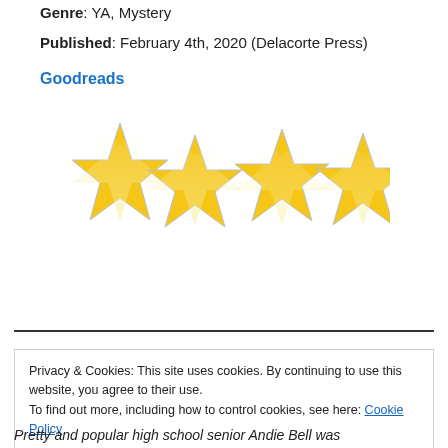Genre: YA, Mystery
Published: February 4th, 2020 (Delacorte Press)
Goodreads
[Figure (illustration): Four gold/yellow stars with reflections below them, indicating a 4-star rating]
Privacy & Cookies: This site uses cookies. By continuing to use this website, you agree to their use. To find out more, including how to control cookies, see here: Cookie Policy
Close and accept
Pretty and popular high school senior Andie Bell was